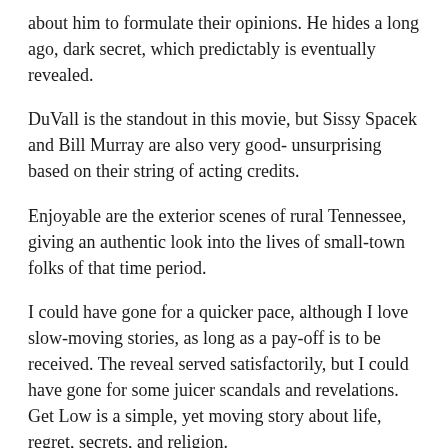about him to formulate their opinions. He hides a long ago, dark secret, which predictably is eventually revealed.
DuVall is the standout in this movie, but Sissy Spacek and Bill Murray are also very good- unsurprising based on their string of acting credits.
Enjoyable are the exterior scenes of rural Tennessee, giving an authentic look into the lives of small-town folks of that time period.
I could have gone for a quicker pace, although I love slow-moving stories, as long as a pay-off is to be received. The reveal served satisfactorily, but I could have gone for some juicer scandals and revelations. Get Low is a simple, yet moving story about life, regret, secrets, and religion.
Independent Spirit Award Nominations: Best Supporting Male-Bill Murray, Best First Feature (won)